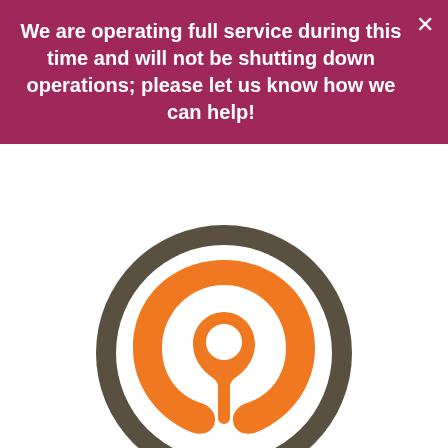We are operating full service during this time and will not be shutting down operations; please let us know how we can help!
[Figure (logo): CrowdRise logo: a circular dark olive/brown ring with an orange stylized swirling arrow/pin icon inside, above the wordmark 'crowdrise' with 'crowd' in dark olive and 'rise' in orange, followed by a TM superscript.]